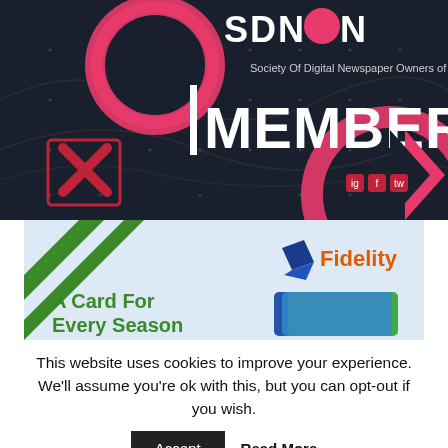[Figure (logo): SDNON (Society Of Digital Newspaper Owners of Nigeria) MEMBER banner with dark background, pink circles, X shape, chevron, and social media icons]
[Figure (illustration): Fidelity Bank advertisement: 'A Card For Every Season' with green triangle decoration, Fidelity logo, and card images]
This website uses cookies to improve your experience. We'll assume you're ok with this, but you can opt-out if you wish.
Accept
Read More